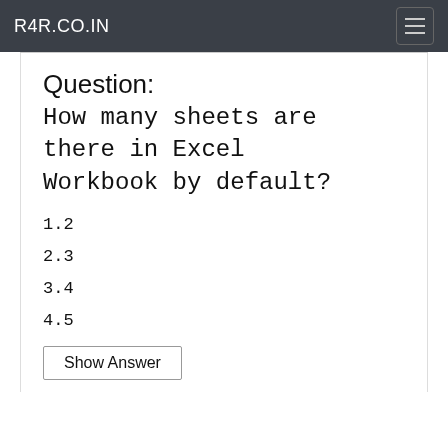R4R.CO.IN
Question:
How many sheets are there in Excel Workbook by default?
1.2
2.3
3.4
4.5